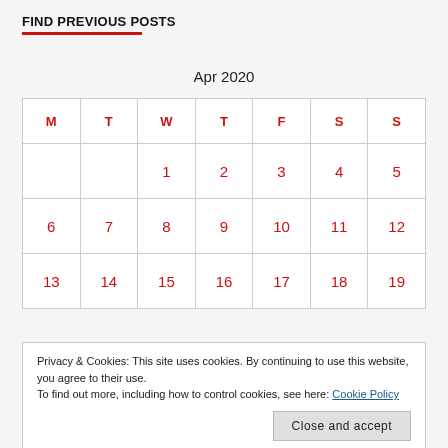FIND PREVIOUS POSTS
Apr 2020
| M | T | W | T | F | S | S |
| --- | --- | --- | --- | --- | --- | --- |
|  |  | 1 | 2 | 3 | 4 | 5 |
| 6 | 7 | 8 | 9 | 10 | 11 | 12 |
| 13 | 14 | 15 | 16 | 17 | 18 | 19 |
Privacy & Cookies: This site uses cookies. By continuing to use this website, you agree to their use. To find out more, including how to control cookies, see here: Cookie Policy
Close and accept